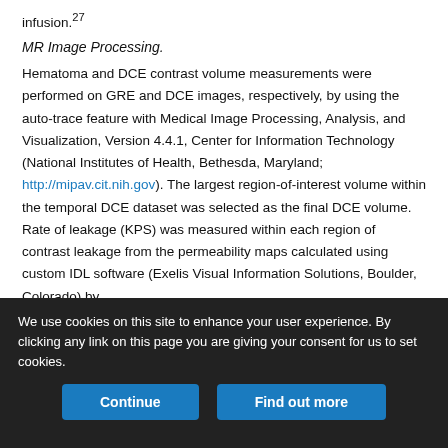infusion.27
MR Image Processing.
Hematoma and DCE contrast volume measurements were performed on GRE and DCE images, respectively, by using the auto-trace feature with Medical Image Processing, Analysis, and Visualization, Version 4.4.1, Center for Information Technology (National Institutes of Health, Bethesda, Maryland; http://mipav.cit.nih.gov). The largest region-of-interest volume within the temporal DCE dataset was selected as the final DCE volume. Rate of leakage (KPS) was measured within each region of contrast leakage from the permeability maps calculated using custom IDL software (Exelis Visual Information Solutions, Boulder, Colorado) by
We use cookies on this site to enhance your user experience. By clicking any link on this page you are giving your consent for us to set cookies.